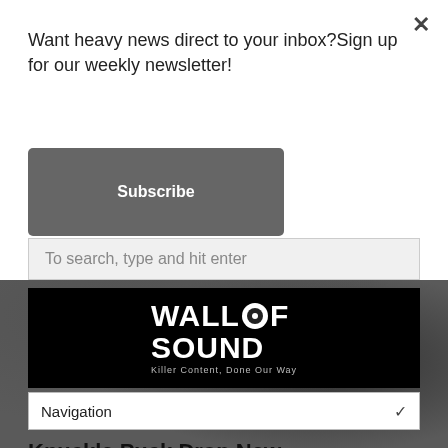Want heavy news direct to your inbox?Sign up for our weekly newsletter!
Subscribe
[Figure (screenshot): Search bar with placeholder text 'To search, type and hit enter']
[Figure (logo): Wall of Sound logo - black banner with white text and speaker icon, tagline 'Killer Content, Done Our Way']
Navigation
Knuckle Puck Drop New